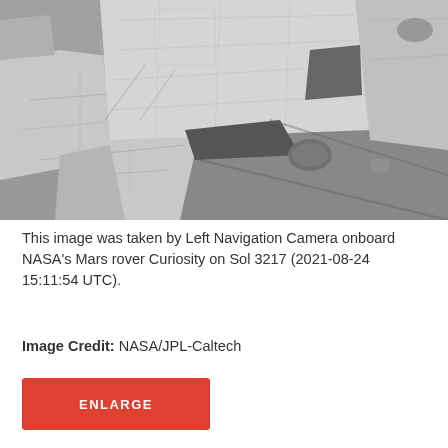[Figure (photo): Black and white photograph of Mars surface taken by the Left Navigation Camera onboard NASA's Curiosity rover. Shows rocky terrain with large flat rocks, smaller rocks, and shadows on Sol 3217.]
This image was taken by Left Navigation Camera onboard NASA's Mars rover Curiosity on Sol 3217 (2021-08-24 15:11:54 UTC).
Image Credit: NASA/JPL-Caltech
ENLARGE
Downloads